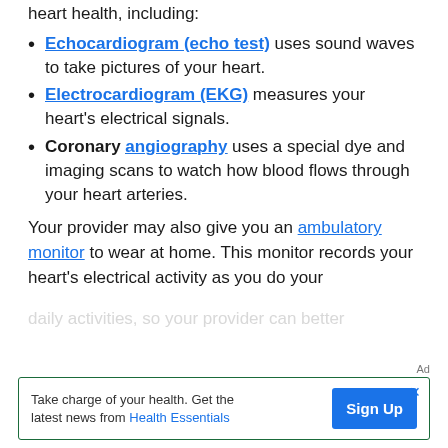heart health, including:
Echocardiogram (echo test) uses sound waves to take pictures of your heart.
Electrocardiogram (EKG) measures your heart's electrical signals.
Coronary angiography uses a special dye and imaging scans to watch how blood flows through your heart arteries.
Your provider may also give you an ambulatory monitor to wear at home. This monitor records your heart's electrical activity as you do your daily activities...
[Figure (other): Advertisement banner: 'Take charge of your health. Get the latest news from Health Essentials' with a blue 'Sign Up' button]